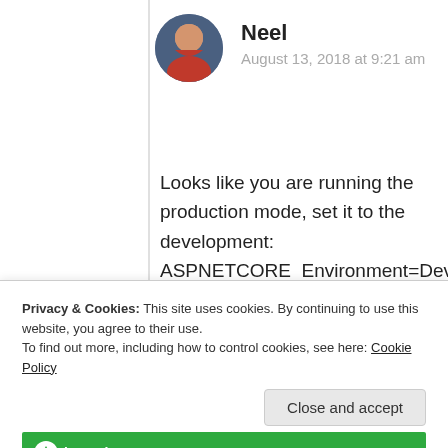Neel
August 13, 2018 at 9:21 am
Looks like you are running the production mode, set it to the development: ASPNETCORE_Environment=Development, this should help: https://github.com/aspnet/JavaScriptServices/issues/1514
Privacy & Cookies: This site uses cookies. By continuing to use this website, you agree to their use.
To find out more, including how to control cookies, see here: Cookie Policy
Close and accept